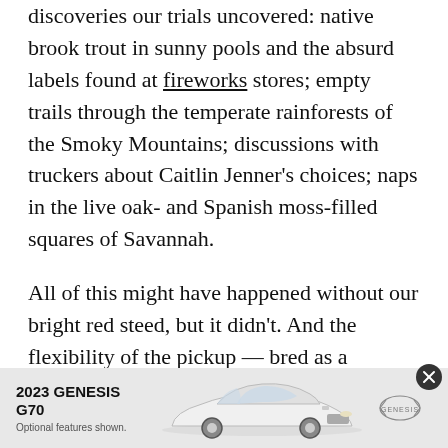discoveries our trials uncovered: native brook trout in sunny pools and the absurd labels found at fireworks stores; empty trails through the temperate rainforests of the Smoky Mountains; discussions with truckers about Caitlin Jenner's choices; naps in the live oak- and Spanish moss-filled squares of Savannah.
All of this might have happened without our bright red steed, but it didn't. And the flexibility of the pickup — bred as a workhorse and successfully adapted for the 21st-century flatlander who occasionally hauls wood — manifested itself in
[Figure (photo): Advertisement for 2023 Genesis G70. Shows a white Genesis G70 sedan with the Genesis winged logo. Text reads '2023 GENESIS G70' and 'Optional features shown.' with a close (X) button.]